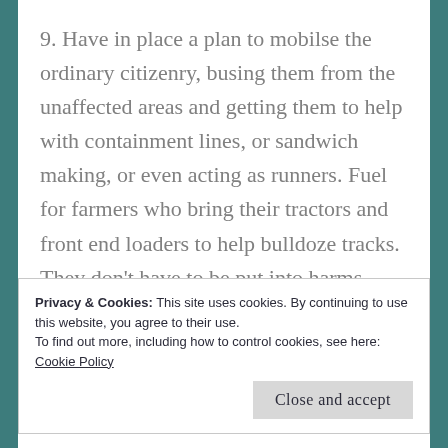9. Have in place a plan to mobilse the ordinary citizenry, busing them from the unaffected areas and getting them to help with containment lines, or sandwich making, or even acting as runners. Fuel for farmers who bring their tractors and front end loaders to help bulldoze tracks. They don't have to be put into harms way, but having them do drone stuff, means the more experienced guys can be deployed elsewhere.
Privacy & Cookies: This site uses cookies. By continuing to use this website, you agree to their use.
To find out more, including how to control cookies, see here:
Cookie Policy
Close and accept